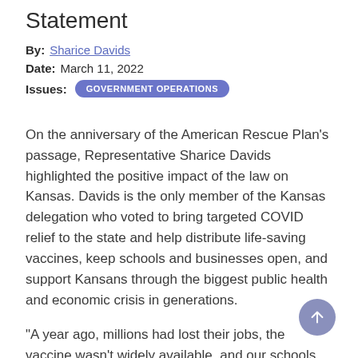Statement
By: Sharice Davids
Date: March 11, 2022
Issues: GOVERNMENT OPERATIONS
On the anniversary of the American Rescue Plan's passage, Representative Sharice Davids highlighted the positive impact of the law on Kansas. Davids is the only member of the Kansas delegation who voted to bring targeted COVID relief to the state and help distribute life-saving vaccines, keep schools and businesses open, and support Kansans through the biggest public health and economic crisis in generations.
"A year ago, millions had lost their jobs, the vaccine wasn't widely available, and our schools and